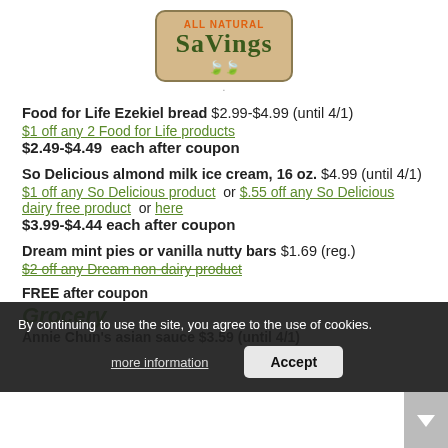[Figure (logo): All Natural Savings logo: tan/beige rounded rectangle with orange 'ALL NATURAL' text and green 'SaVings' text with leaf decorations]
Food for Life Ezekiel bread $2.99-$4.99 (until 4/1)
$1 off any 2 Food for Life products
$2.49-$4.49  each after coupon
So Delicious almond milk ice cream, 16 oz. $4.99 (until 4/1)
$1 off any So Delicious product  or $.55 off any So Delicious dairy free product  or here
$3.99-$4.44 each after coupon
Dream mint pies or vanilla nutty bars $1.69 (reg.)
$2 off any Dream non-dairy product
FREE after coupon
Grocery
Annie Chun's asian sauce $3.59 (until 4/1)
By continuing to use the site, you agree to the use of cookies.